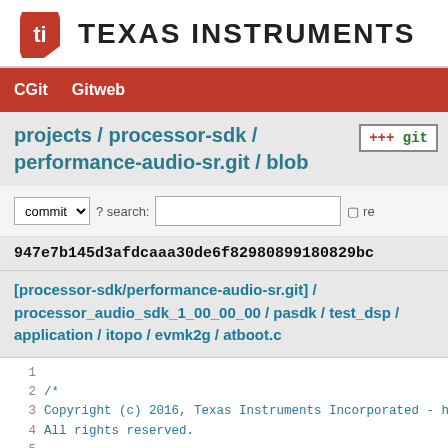[Figure (logo): Texas Instruments logo with red TI emblem and TEXAS INSTRUMENTS text]
CGit   Gitweb
projects / processor-sdk / performance-audio-sr.git / blob
commit  ? search:  re
947e7b145d3afdcaaa30de6f82980899180829bc
[processor-sdk/performance-audio-sr.git] / processor_audio_sdk_1_00_00_00 / pasdk / test_dsp / application / itopo / evmk2g / atboot.c
1
2 /*
3 Copyright (c) 2016, Texas Instruments Incorporated - htt
4 All rights reserved.
5
6 * Redistribution and use in source and binary forms, wit
7 * modification, are permitted provided that the followin
8 * are met: